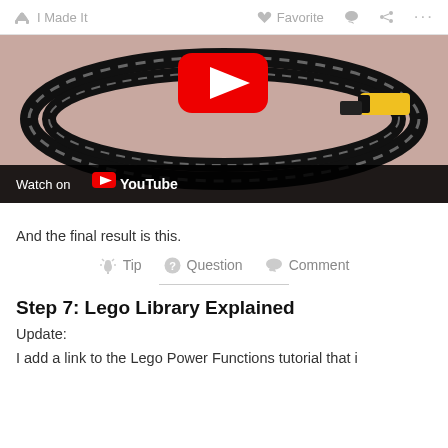I Made It   Favorite   Comment   Share   More
[Figure (screenshot): YouTube video thumbnail showing a LEGO train set on tracks viewed from above, with a 'Watch on YouTube' bar at the bottom]
And the final result is this.
Tip   Question   Comment
Step 7: Lego Library Explained
Update:
I add a link to the Lego Power Functions tutorial that i